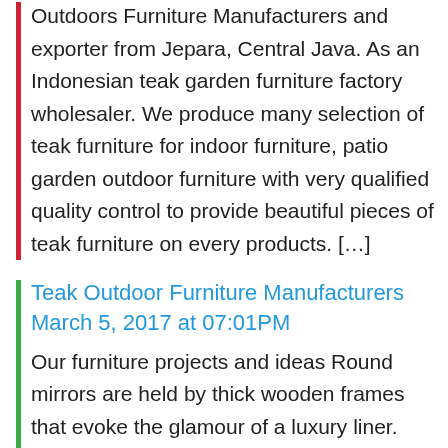Outdoors Furniture Manufacturers and exporter from Jepara, Central Java. As an Indonesian teak garden furniture factory wholesaler. We produce many selection of teak furniture for indoor furniture, patio garden outdoor furniture with very qualified quality control to provide beautiful pieces of teak furniture on every products. […]
Teak Outdoor Furniture Manufacturers March 5, 2017 at 07:01PM
Our furniture projects and ideas Round mirrors are held by thick wooden frames that evoke the glamour of a luxury liner. Shiny brass trim on the inner rim accentuates the clean and simple desig on Looks nice furniture
Awesome Carpentry Advice To Provide You Began
Have you been keen on woodworking? Is it something